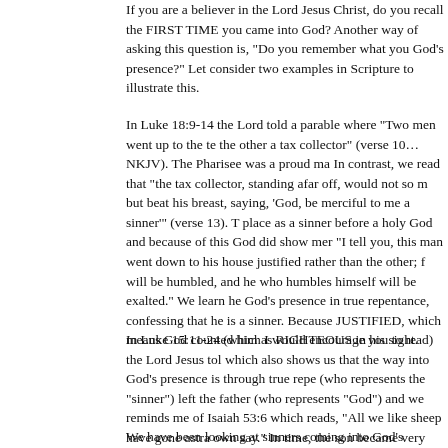If you are a believer in the Lord Jesus Christ, do you recall the FIRST TIME you came into God's presence? Another way of asking this question is, "Do you remember what you felt in God's presence?" Let consider two examples in Scripture to illustrate this.
In Luke 18:9-14 the Lord told a parable where "Two men went up to the temple to pray, the other a tax collector" (verse 10…NKJV). The Pharisee was a proud man who... In contrast, we read that "the tax collector, standing afar off, would not so much as raise his eyes but beat his breast, saying, 'God, be merciful to me a sinner'" (verse 13). The tax collector knew his place as a sinner before a holy God and because of this God did show mercy to him. Jesus tells us, "I tell you, this man went down to his house justified rather than the other; for everyone who exalts himself will be humbled, and he who humbles himself will be exalted." We learn here that the tax collector came into God's presence in true repentance, confessing that he is a sinner. Because of this he was JUSTIFIED, which means God counted him as RIGHTEOUS in his sight.
In Luke 15:11-24 (which I would encourage you to read) the Lord Jesus told the parable of the prodigal son which also shows us that the way into God's presence is through true repentance. In the parable, the son (who represents the "sinner") left the father (who represents "God") and went his own way. This reminds me of Isaiah 53:6 which reads, "All we like sheep have gone astray; We have turned, every one, to his own say." In time, the son became very poor and remembered how good he had it in the house of his father, so he was determined to go back to his father and say to him, "Father, I have sinned against heaven and before you, and I am no longer worthy to be called your son" (verses 18-19). Then comes the precious, "And he arose and came to his father. But when he was still a great way off, his father saw him and had compassion, and ran and fell on his neck and kissed him." The lesson is this: God loves sinners and longs to see sinners return to Him and if they come in true repentance, confessing their sin to God, God will gladly receive them into His presence.
We have been looking at sinners coming into God's presence for the very...